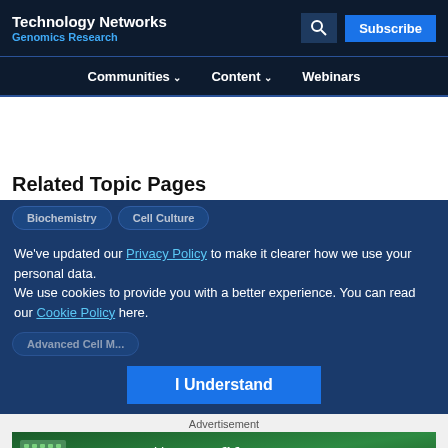Technology Networks
Genomics Research
Communities  Content  Webinars
Related Topic Pages
We've updated our Privacy Policy to make it clearer how we use your personal data.
We use cookies to provide you with a better experience. You can read our Cookie Policy here.
I Understand
Advertisement
[Figure (other): Bio-Rad advertisement banner: 'Automate with confidence.' with Bio-Rad logo and microplate image on green background]